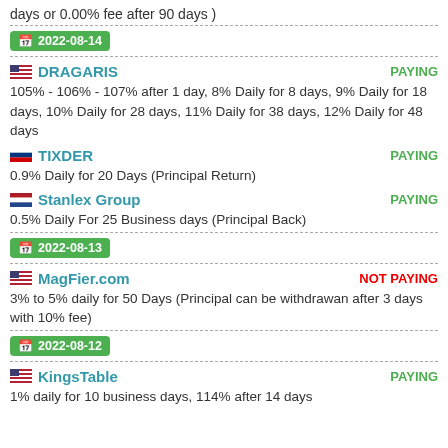days or 0.00% fee after 90 days )
2022-08-14
DRAGARIS
PAYING
105% - 106% - 107% after 1 day, 8% Daily for 8 days, 9% Daily for 18 days, 10% Daily for 28 days, 11% Daily for 38 days, 12% Daily for 48 days
TIXDER
PAYING
0.9% Daily for 20 Days (Principal Return)
Stanlex Group
PAYING
0.5% Daily For 25 Business days (Principal Back)
2022-08-13
MagFier.com
NOT PAYING
3% to 5% daily for 50 Days (Principal can be withdrawan after 3 days with 10% fee)
2022-08-12
KingsTable
PAYING
1% daily for 10 business days, 114% after 14 days